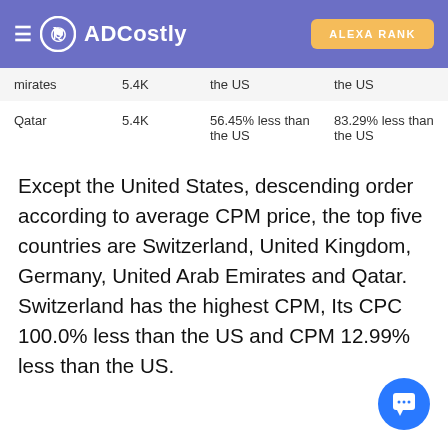ADCostly | ALEXA RANK
| mirates | 5.4K | the US | the US |
| Qatar | 5.4K | 56.45% less than the US | 83.29% less than the US |
Except the United States, descending order according to average CPM price, the top five countries are Switzerland, United Kingdom, Germany, United Arab Emirates and Qatar. Switzerland has the highest CPM, Its CPC 100.0% less than the US and CPM 12.99% less than the US.